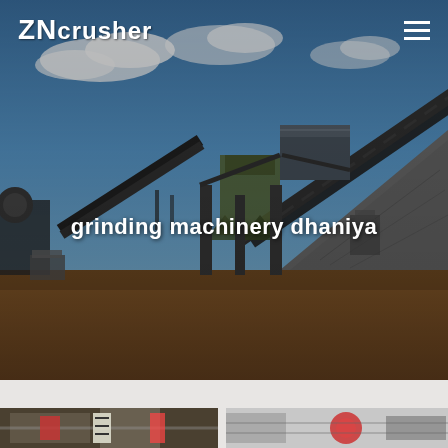[Figure (photo): Industrial crushing and grinding machinery facility with conveyor belts, hoppers, and a large pile of crushed stone/gravel under a blue sky with clouds. The site has reddish-brown earth ground.]
ZNcrusher
grinding machinery dhaniya
[Figure (photo): Thumbnail photo of industrial machinery interior, left side]
[Figure (photo): Thumbnail photo of industrial machinery, right side]